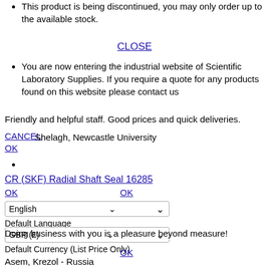This product is being discontinued, you may only order up to the available stock.
CLOSE
You are now entering the industrial website of Scientific Laboratory Supplies. If you require a quote for any products found on this website please contact us
Friendly and helpful staff. Good prices and quick deliveries.
CANCEL
Shelagh, Newcastle University
OK
CR (SKF) Radial Shaft Seal 16285
OK
OK
English (dropdown) - Default Language
GBP (£) (dropdown) - Default Currency (List Price Only)
Doing business with you is a pleasure beyond measure!
OK
Asem, Krezol - Russia